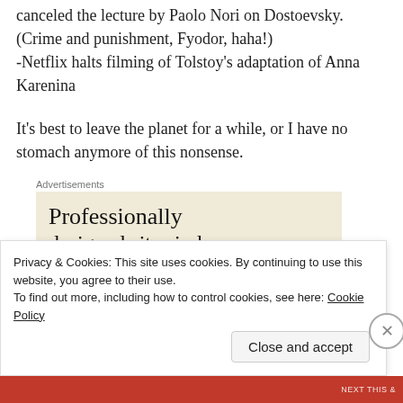canceled the lecture by Paolo Nori on Dostoevsky.
(Crime and punishment, Fyodor, haha!)
-Netflix halts filming of Tolstoy's adaptation of Anna Karenina
It's best to leave the planet for a while, or I have no stomach anymore of this nonsense.
Advertisements
[Figure (screenshot): Advertisement box with beige background showing 'Professionally designed sites in less' text]
Privacy & Cookies: This site uses cookies. By continuing to use this website, you agree to their use.
To find out more, including how to control cookies, see here: Cookie Policy
Close and accept